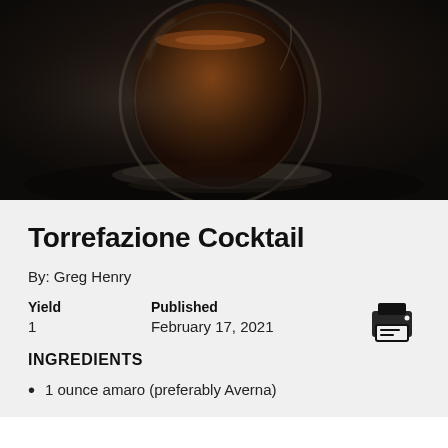[Figure (photo): Close-up photo of a dark cocktail in a rounded glass bowl on a saucer, dark moody background]
Torrefazione Cocktail
By: Greg Henry
Yield 1 Published February 17, 2021
INGREDIENTS
1 ounce amaro (preferably Averna)